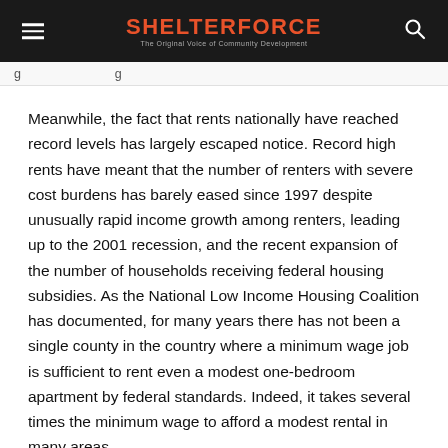SHELTERFORCE — The Original Voice of Community Development
Meanwhile, the fact that rents nationally have reached record levels has largely escaped notice. Record high rents have meant that the number of renters with severe cost burdens has barely eased since 1997 despite unusually rapid income growth among renters, leading up to the 2001 recession, and the recent expansion of the number of households receiving federal housing subsidies. As the National Low Income Housing Coalition has documented, for many years there has not been a single county in the country where a minimum wage job is sufficient to rent even a modest one-bedroom apartment by federal standards. Indeed, it takes several times the minimum wage to afford a modest rental in many areas.